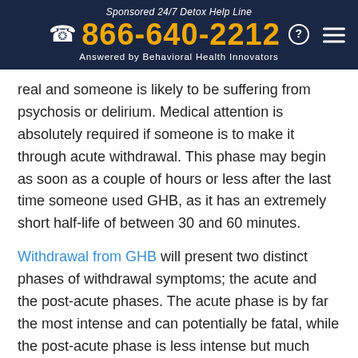Sponsored 24/7 Detox Help Line
866-640-2212
Answered by Behavioral Health Innovators
real and someone is likely to be suffering from psychosis or delirium. Medical attention is absolutely required if someone is to make it through acute withdrawal. This phase may begin as soon as a couple of hours or less after the last time someone used GHB, as it has an extremely short half-life of between 30 and 60 minutes.
Withdrawal from GHB will present two distinct phases of withdrawal symptoms; the acute and the post-acute phases. The acute phase is by far the most intense and can potentially be fatal, while the post-acute phase is less intense but much longer-lasting. Both phases are extremely uncomfortable, but the acute phase can be very dangerous. Acute